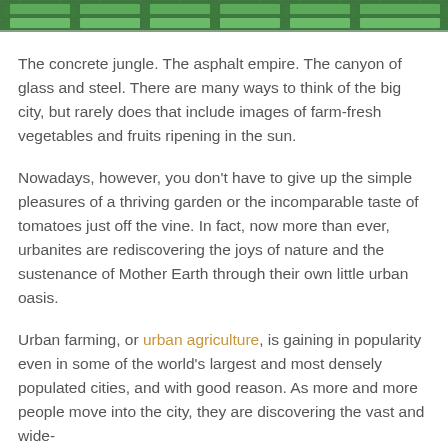[Figure (photo): Aerial or overhead image showing green and white urban farming or rooftop garden structure with grid-like patterns]
The concrete jungle. The asphalt empire. The canyon of glass and steel. There are many ways to think of the big city, but rarely does that include images of farm-fresh vegetables and fruits ripening in the sun.
Nowadays, however, you don't have to give up the simple pleasures of a thriving garden or the incomparable taste of tomatoes just off the vine. In fact, now more than ever, urbanites are rediscovering the joys of nature and the sustenance of Mother Earth through their own little urban oasis.
Urban farming, or urban agriculture, is gaining in popularity even in some of the world's largest and most densely populated cities, and with good reason. As more and more people move into the city, they are discovering the vast and wide-